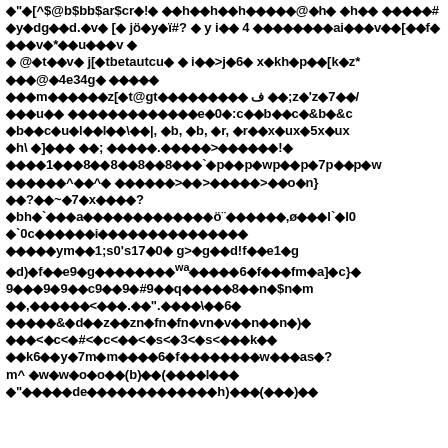Corrupted/encoded text content with diamond replacement characters interspersed with ASCII characters. The page appears to be a corrupted or specially encoded document where many characters have been replaced with diamond symbols (◆), mixed with readable ASCII text fragments including strings like: [^$@b$bb$ar$cr, h, h, h, @, h, h, #, y, dg, d, v, j, y, i#?, y, i, 4, ai, v, f, v, u, v, @t, v, j, tbetautcu, i, >j, 6, x, kh, p, [k, z, @, 4e34g, m, z, [t@gt, f, ;z, 'z, 7, /, u, e0, :c, b, c, &b, &c, b, c, u, l, l, |, b, b, r, r, x, ux, 5x, ux, h, ], ;;, ., >, !, 1, 8, 8, 8, 8, p, p, wp, p, 7p, p, w, ^, ^, >, >, >, o, n}, ?, ~, 7, x, ?, bh, `, a, o, ,o, l, `l0, `0c, i, ym, 1;s0's17, 0, g>, g, d!f, e1, g, d), f, e9, g, wa, 6, f, fm, a], c}, 9, 9, 9, c9, 9, #9, q, 8, n, $n, m, ,, , , <, , ., ", , \, , 6, &, d, z, zn, fn, fn, vn, v, n, n, ), <, c<, #<, c<, <, s<, 3<, s<, k, k6, y, 7m, m, 6, f, w, as, ?, m^, w, w, o, o, (b), (, l, ".